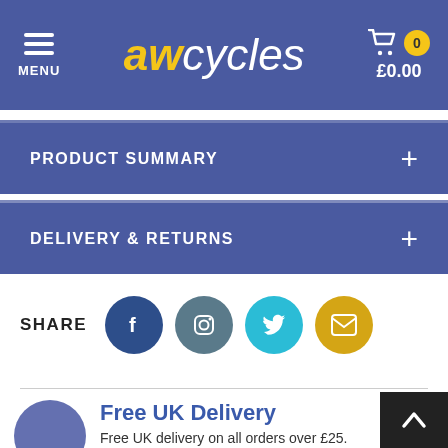aw cycles — MENU — cart £0.00
PRODUCT SUMMARY
DELIVERY & RETURNS
SHARE
Free UK Delivery
Free UK delivery on all orders over £25. Next day delivery is also available at an additional cost